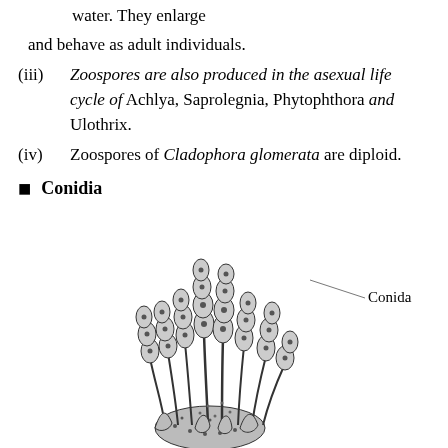water. They enlarge
and behave as adult individuals.
(iii) Zoospores are also produced in the asexual life cycle of Achlya, Saprolegnia, Phytophthora and Ulothrix.
(iv) Zoospores of Cladophora glomerata are diploid.
Conidia
[Figure (illustration): Illustration of Conidia showing multiple conidiophores bearing oval conidia at their tips, with a label line pointing to 'Conida']